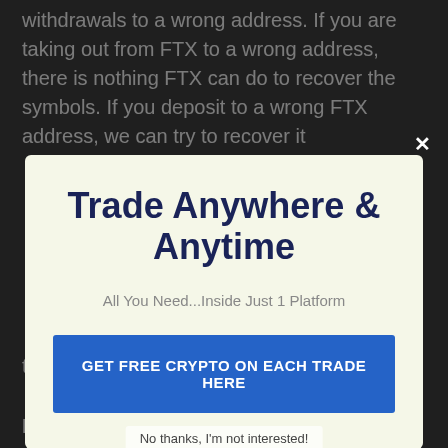withdrawals to a wrong address. If you are taking out from FTX to a wrong address, there is nothing FTX can do to recover the symbols. If you deposit to a wrong FTX address, we can try to recover it
[Figure (screenshot): Modal popup advertisement overlay on a dark background. Title: 'Trade Anywhere & Anytime'. Subtitle: 'All You Need...Inside Just 1 Platform'. Blue CTA button: 'GET FREE CRYPTO ON EACH TRADE HERE'. Close X button top right. 'No thanks, I'm not interested!' link at bottom.]
token or will require a higher fee.
Incorrect Coin